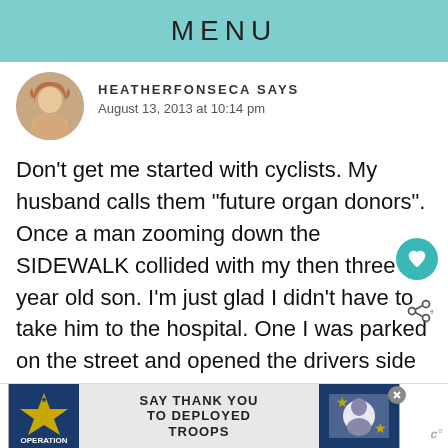MENU
HEATHERFONSECA SAYS
August 13, 2013 at 10:14 pm
Don't get me started with cyclists. My husband calls them “future organ donors”. Once a man zooming down the SIDEWALK collided with my then three year old son. I’m just glad I didn't have to take him to the hospital. One I was parked on the street and opened the drivers side door to my car, slowly mind you, and this woman zooms past me screaming obscenities. Honestly I wish they'd go bike somewhere else and take their
[Figure (infographic): Operation Gratitude ad: SAY THANK YOU TO DEPLOYED TROOPS with eagle/patriotic imagery]